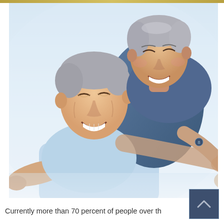[Figure (photo): Two smiling elderly people, a man and a woman with grey/silver hair, both stretching their arms out. The man is in front wearing a light blue shirt, the woman is hugging him from behind wearing a denim blue top. The photo has a light blue-white background and conveys joy and vitality.]
Currently more than 70 percent of people over th